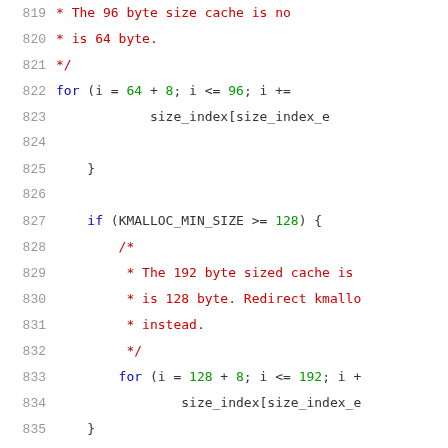[Figure (screenshot): Source code listing showing C code lines 819-839, with syntax highlighting. Line numbers in grey on left, keywords in blue, comments in red, operators/numbers in green, identifiers in dark.]